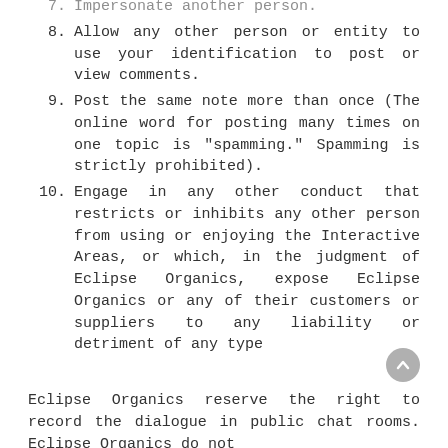7. Impersonate another person.
8. Allow any other person or entity to use your identification to post or view comments.
9. Post the same note more than once (The online word for posting many times on one topic is "spamming." Spamming is strictly prohibited).
10. Engage in any other conduct that restricts or inhibits any other person from using or enjoying the Interactive Areas, or which, in the judgment of Eclipse Organics, expose Eclipse Organics or any of their customers or suppliers to any liability or detriment of any type
Eclipse Organics reserve the right to record the dialogue in public chat rooms. Eclipse Organics do not